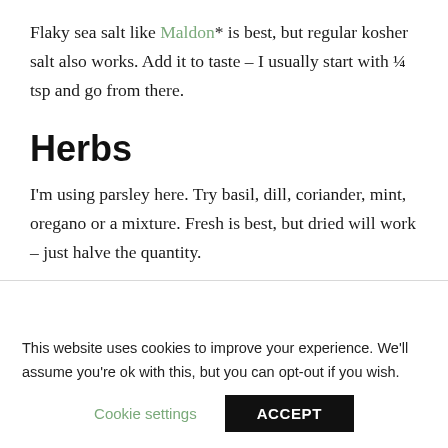Flaky sea salt like Maldon* is best, but regular kosher salt also works. Add it to taste – I usually start with ¼ tsp and go from there.
Herbs
I'm using parsley here. Try basil, dill, coriander, mint, oregano or a mixture. Fresh is best, but dried will work – just halve the quantity.
This website uses cookies to improve your experience. We'll assume you're ok with this, but you can opt-out if you wish.
Cookie settings   ACCEPT